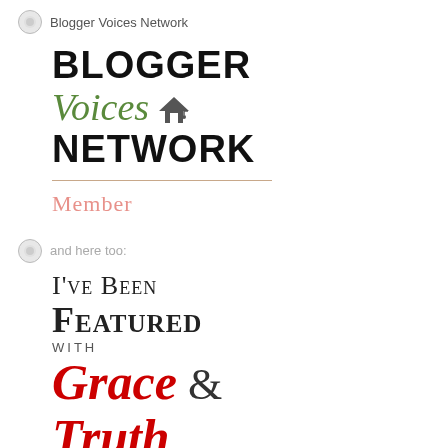Blogger Voices Network
[Figure (logo): Blogger Voices Network logo with text BLOGGER in bold black, Voices in green italic script with a house icon, NETWORK in bold black, a horizontal divider line, and Member in salmon/pink text below]
and here too:
[Figure (logo): I've Been Featured with Grace & Truth badge logo — top two lines in small-caps serif, 'with' in small uppercase tracking, 'Grace &' and 'Truth' in large red italic script]